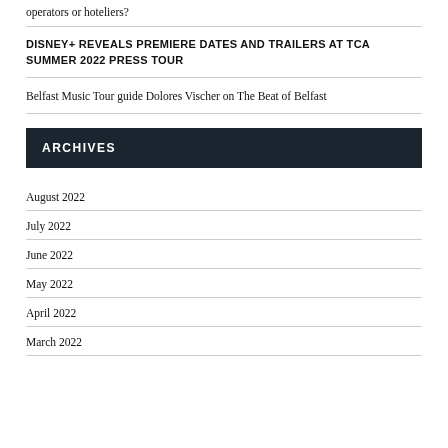operators or hoteliers?
DISNEY+ REVEALS PREMIERE DATES AND TRAILERS AT TCA SUMMER 2022 PRESS TOUR
Belfast Music Tour guide Dolores Vischer on The Beat of Belfast
ARCHIVES
August 2022
July 2022
June 2022
May 2022
April 2022
March 2022